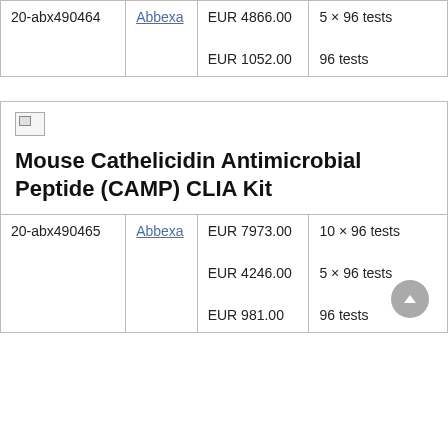| ID | Supplier | Price | Quantity |
| --- | --- | --- | --- |
| 20-abx490464 | Abbexa | EUR 4866.00
EUR 1052.00 | 5 × 96 tests
96 tests |
[Figure (other): Broken image placeholder icon]
Mouse Cathelicidin Antimicrobial Peptide (CAMP) CLIA Kit
| ID | Supplier | Price | Quantity |
| --- | --- | --- | --- |
| 20-abx490465 | Abbexa | EUR 7973.00
EUR 4246.00
EUR 981.00 | 10 × 96 tests
5 × 96 tests
96 tests |